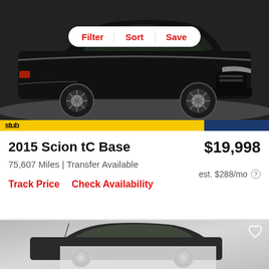[Figure (photo): Black 2015 Scion tC Base coupe photograph on a dealership turntable, with Filter/Sort/Save navigation bar overlay at top]
2015 Scion tC Base
$19,998
75,607 Miles | Transfer Available
est. $288/mo
Track Price   Check Availability
[Figure (photo): Partially visible second car listing photo, gray/dark compact car on gray background with heart/favorite icon]